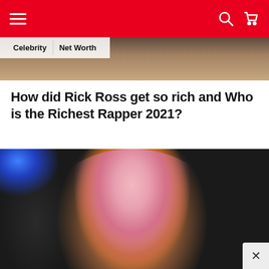Navigation bar with hamburger menu, search icon, and cart icon
[Figure (photo): Partial photo of a person's shoulder/arm visible at the top of the page behind breadcrumbs]
Celebrity   Net Worth
How did Rick Ross get so rich and Who is the Richest Rapper 2021?
[Figure (photo): Photo of a woman with long blonde/pink hair, wearing large hoop earrings and a sparkly choker necklace, making a pouty face. There is a man in a suit visible in the darker background to the left. A blue light is visible in the upper left corner.]